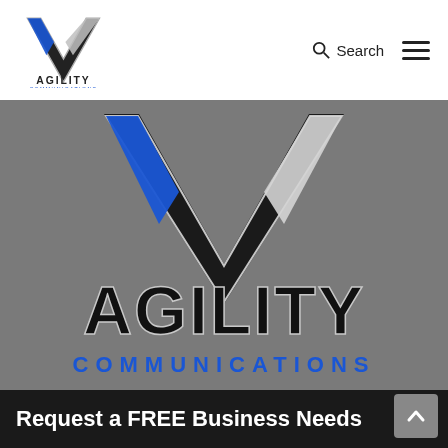[Figure (logo): Agility Communications logo in header — V-shaped mark with blue and silver colors, text 'AGILITY' and 'COMMUNICATIONS' below]
[Figure (logo): Large Agility Communications logo centered on gray background — large V-shaped mark in black, blue and silver, with large 'AGILITY' text and blue 'COMMUNICATIONS' text below]
Request a FREE Business Needs